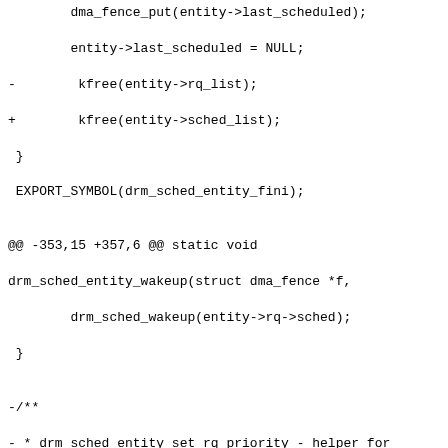Code diff showing changes to drm_sched_entity functions including removal of drm_sched_entity_set_rq_priority helper function